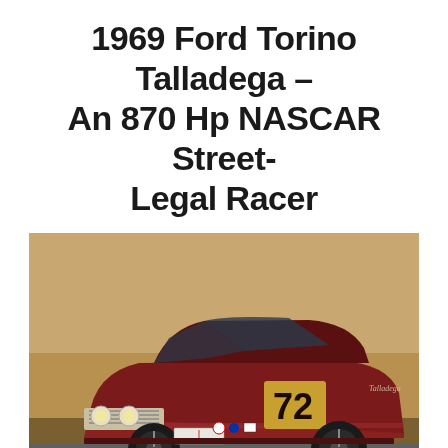1969 Ford Torino Talladega – An 870 Hp NASCAR Street-Legal Racer
[Figure (photo): A dark maroon/burgundy 1969 Ford Torino Talladega race car with number 72 on the door, photographed on a racing track with a sandy/desert background. The car has chrome grille, racing decals, and black wheels.]
AMERICAN / CARS / CLASSIC CARS